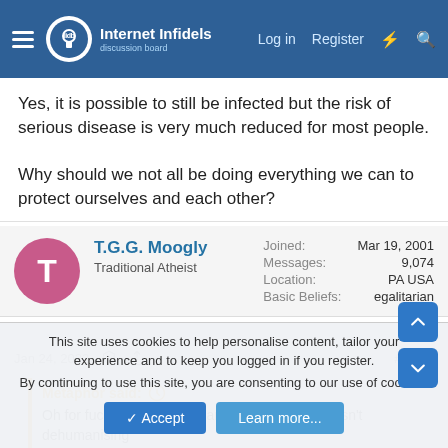Internet Infidels — Log in  Register
Yes, it is possible to still be infected but the risk of serious disease is very much reduced for most people.

Why should we not all be doing everything we can to protect ourselves and each other?
T.G.G. Moogly — Traditional Atheist — Joined: Mar 19, 2001 — Messages: 9,074 — Location: PA USA — Basic Beliefs: egalitarian
Jan 24, 2022  #6,494
Metaphor said: Oh for fuck's sake, if comparing humans to rats isn't dehumanising
This site uses cookies to help personalise content, tailor your experience and to keep you logged in if you register.
By continuing to use this site, you are consenting to our use of cookies.